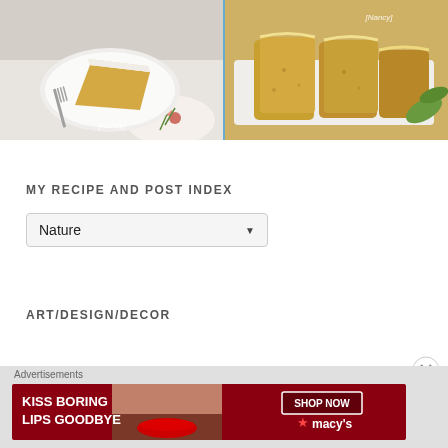[Figure (photo): Two food photos side by side: left shows a slice of cake/pie on a white plate with a fork and floral napkin with watermark [Nancy]; right shows sliced glazed bread loaf on a plate with watermark [Nancy]]
MY RECIPE AND POST INDEX
[Figure (screenshot): Dropdown selector showing 'Nature' with a down arrow]
ART/DESIGN/DECOR
[Figure (photo): Advertisement banner: 'KISS BORING LIPS GOODBYE' with a woman's face and red lips, SHOP NOW button and Macy's star logo on red background]